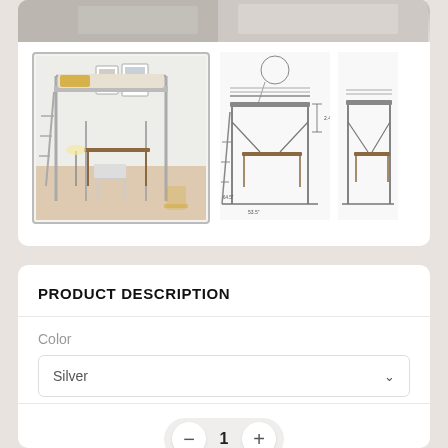[Figure (photo): Top strip showing bedding/bedroom scene at top of card]
[Figure (photo): Main thumbnail: loft bed with desk in room setting, silver metal frame, yellow pillow, chair underneath]
[Figure (engineering-diagram): Front-view technical diagram of loft bed with desk and dimension annotations]
[Figure (engineering-diagram): Side-view technical diagram of loft bed with desk]
PRODUCT DESCRIPTION
Color
Silver
1